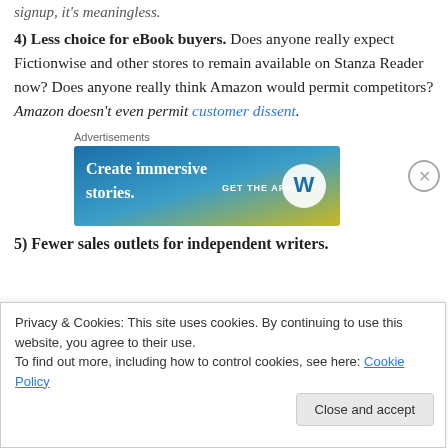signup, it's meaningless.
4) Less choice for eBook buyers. Does anyone really expect Fictionwise and other stores to remain available on Stanza Reader now? Does anyone really think Amazon would permit competitors? Amazon doesn't even permit customer dissent.
[Figure (other): Advertisement banner for WordPress: 'Create immersive stories. GET THE APP' with WordPress logo on a blue-to-yellow gradient background.]
5) Fewer sales outlets for independent writers.
Privacy & Cookies: This site uses cookies. By continuing to use this website, you agree to their use. To find out more, including how to control cookies, see here: Cookie Policy
Close and accept